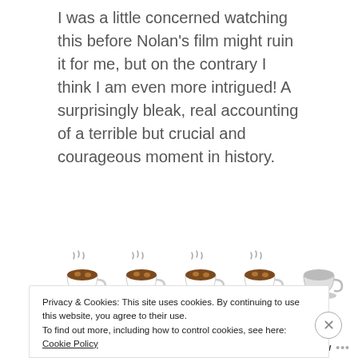I was a little concerned watching this before Nolan's film might ruin it for me, but on the contrary I think I am even more intrigued! A surprisingly bleak, real accounting of a terrible but crucial and courageous moment in history.
[Figure (illustration): Five coffee cup emojis in a row representing a rating — four full colored cups and one grey/empty cup]
[Figure (screenshot): Video thumbnail for 'DUNKIRK TRAILER' with umbrella logo, dark/black and white imagery of faces]
Privacy & Cookies: This site uses cookies. By continuing to use this website, you agree to their use.
To find out more, including how to control cookies, see here: Cookie Policy
Close and accept
Follow